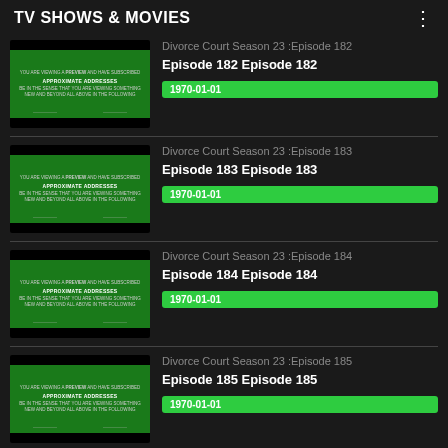TV SHOWS & MOVIES
Divorce Court Season 23 :Episode 182
Episode 182 Episode 182
1970-01-01
Divorce Court Season 23 :Episode 183
Episode 183 Episode 183
1970-01-01
Divorce Court Season 23 :Episode 184
Episode 184 Episode 184
1970-01-01
Divorce Court Season 23 :Episode 185
Episode 185 Episode 185
1970-01-01